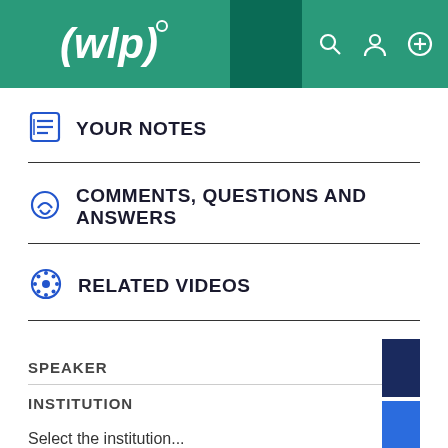[Figure (logo): WLP logo with white text on green background header with search, user, and add icons]
YOUR NOTES
COMMENTS, QUESTIONS AND ANSWERS
RELATED VIDEOS
SPEAKER
INSTITUTION
Select the institution...
LEVEL